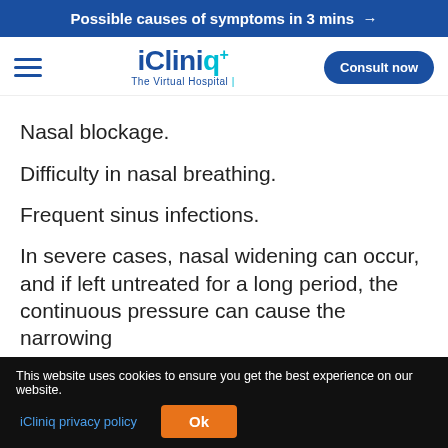Possible causes of symptoms in 3 mins →
[Figure (logo): iCliniq+ The Virtual Hospital logo with hamburger menu and Consult now button]
Nasal blockage.
Difficulty in nasal breathing.
Frequent sinus infections.
In severe cases, nasal widening can occur, and if left untreated for a long period, the continuous pressure can cause the narrowing
This website uses cookies to ensure you get the best experience on our website. iCliniq privacy policy  Ok